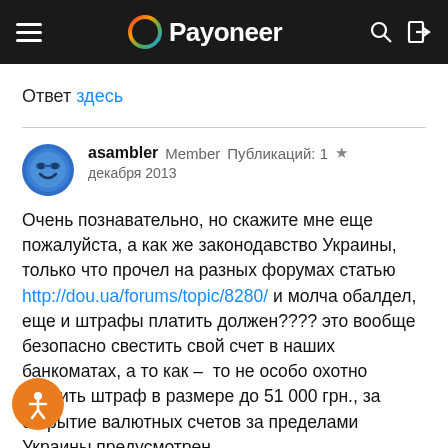Payoneer
Ответ здесь
asambler Member Публикаций: 1 ★
декабря 2013
Очень познавательно, но скажите мне еще пожалуйста, а как же законодавство Украины, только что прочел на разных форумах статью http://dou.ua/forums/topic/8280/ и молча обалдел, еще и штрафы платить должен???? это вообще безопасно свестить свой счет в наших банкоматах, а то как – то не особо охотно платить штраф в размере до 51 000 грн., за открытие валютных счетов за пределами Украины предусмотрен ...х100(?) Уголовный...